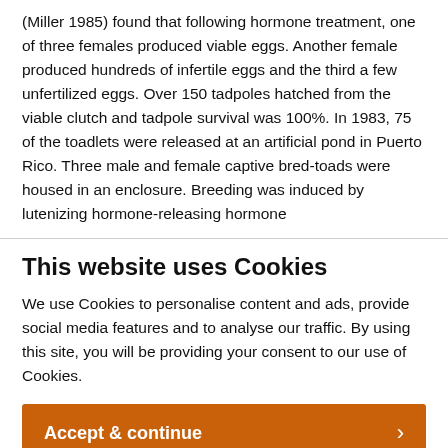(Miller 1985) found that following hormone treatment, one of three females produced viable eggs. Another female produced hundreds of infertile eggs and the third a few unfertilized eggs. Over 150 tadpoles hatched from the viable clutch and tadpole survival was 100%. In 1983, 75 of the toadlets were released at an artificial pond in Puerto Rico. Three male and female captive bred-toads were housed in an enclosure. Breeding was induced by lutenizing hormone-releasing hormone
This website uses Cookies
We use Cookies to personalise content and ads, provide social media features and to analyse our traffic. By using this site, you will be providing your consent to our use of Cookies.
Accept & continue